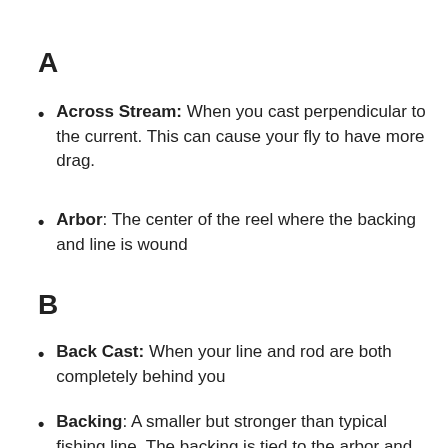A
Across Stream: When you cast perpendicular to the current. This can cause your fly to have more drag.
Arbor: The center of the reel where the backing and line is wound
B
Back Cast: When your line and rod are both completely behind you
Backing: A smaller but stronger than typical fishing line. The backing is tied to the arbor and then the line is attached to the backing. This gives the fisherman a little extra line for when a strong fish takes off quickly.